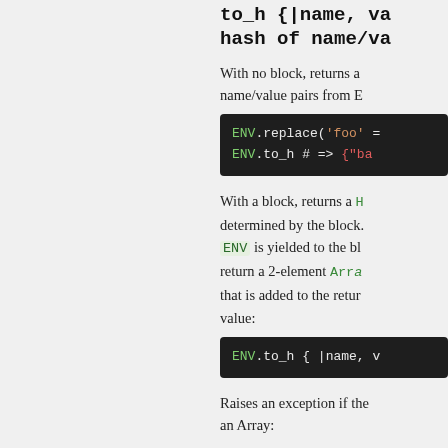to_h {|name, va... hash of name/va...
With no block, returns a ... name/value pairs from E...
[Figure (screenshot): Code block showing: ENV.replace('foo' = ... and ENV.to_h # => {"ba...]
With a block, returns a H... determined by the block. ENV is yielded to the blo... return a 2-element Arra... that is added to the retur... value:
[Figure (screenshot): Code block showing: ENV.to_h { |name, v...]
Raises an exception if the... an Array: